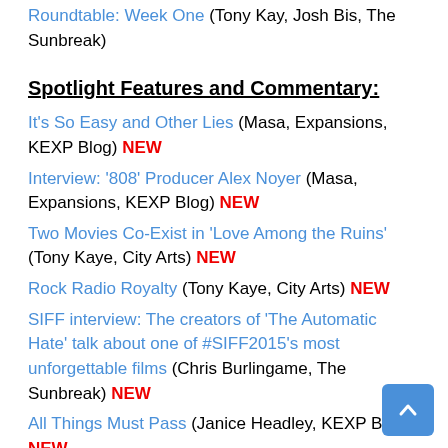Roundtable: Week One (Tony Kay, Josh Bis, The Sunbreak)
Spotlight Features and Commentary:
It's So Easy and Other Lies (Masa, Expansions, KEXP Blog) NEW
Interview: '808' Producer Alex Noyer (Masa, Expansions, KEXP Blog) NEW
Two Movies Co-Exist in 'Love Among the Ruins' (Tony Kaye, City Arts) NEW
Rock Radio Royalty (Tony Kaye, City Arts) NEW
SIFF interview: The creators of 'The Automatic Hate' talk about one of #SIFF2015's most unforgettable films (Chris Burlingame, The Sunbreak) NEW
All Things Must Pass (Janice Headley, KEXP Blog) NEW